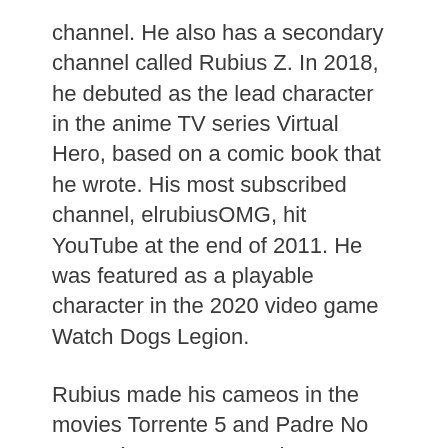channel. He also has a secondary channel called Rubius Z. In 2018, he debuted as the lead character in the anime TV series Virtual Hero, based on a comic book that he wrote. His most subscribed channel, elrubiusOMG, hit YouTube at the end of 2011. He was featured as a playable character in the 2020 video game Watch Dogs Legion.
Rubius made his cameos in the movies Torrente 5 and Padre No Hay Más Que Uno. He has collaborated with Sony Pictures España on promotions for movies such as Pixels, The Interview, and Men in Black: International. He has also sold merchandise on his rubiuscorp.com website.
Read more